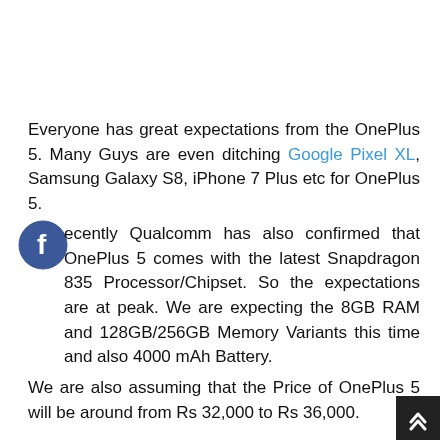Everyone has great expectations from the OnePlus 5. Many Guys are even ditching Google Pixel XL, Samsung Galaxy S8, iPhone 7 Plus etc for OnePlus 5.
[Figure (logo): Facebook circular logo icon]
Recently Qualcomm has also confirmed that OnePlus 5 comes with the latest Snapdragon 835 Processor/Chipset. So the expectations are at peak. We are expecting the 8GB RAM and 128GB/256GB Memory Variants this time and also 4000 mAh Battery.
We are also assuming that the Price of OnePlus 5 will be around from Rs 32,000 to Rs 36,000.